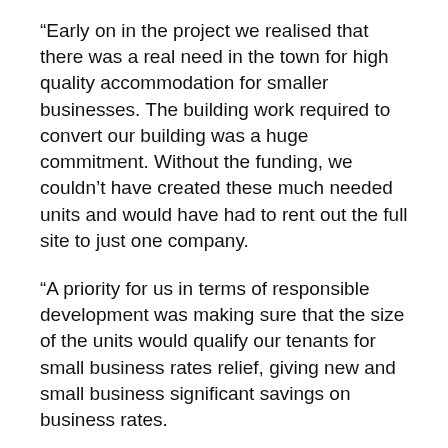“Early on in the project we realised that there was a real need in the town for high quality accommodation for smaller businesses. The building work required to convert our building was a huge commitment. Without the funding, we couldn’t have created these much needed units and would have had to rent out the full site to just one company.
“A priority for us in terms of responsible development was making sure that the size of the units would qualify our tenants for small business rates relief, giving new and small business significant savings on business rates.
“We had so much interest in the smaller units that we actually converted space we had earmarked for storage into additional offices, just because there was so much demand.”